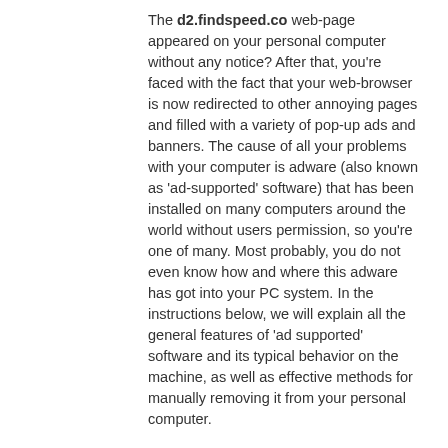The d2.findspeed.co web-page appeared on your personal computer without any notice? After that, you're faced with the fact that your web-browser is now redirected to other annoying pages and filled with a variety of pop-up ads and banners. The cause of all your problems with your computer is adware (also known as 'ad-supported' software) that has been installed on many computers around the world without users permission, so you're one of many. Most probably, you do not even know how and where this adware has got into your PC system. In the instructions below, we will explain all the general features of 'ad supported' software and its typical behavior on the machine, as well as effective methods for manually removing it from your personal computer.